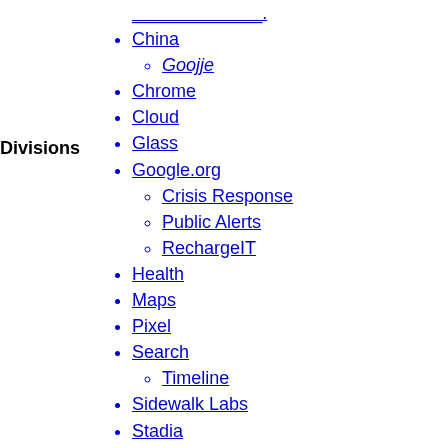China
Goojje
Chrome
Cloud
Glass
Google.org
Crisis Response
Public Alerts
RechargeIT
Health
Maps
Pixel
Search
Timeline
Sidewalk Labs
Stadia
Sustainability
YouTube
History
"Me at the zoo"
Social impact
YouTuber
Krishna Bharat
Vint Cerf
Divisions